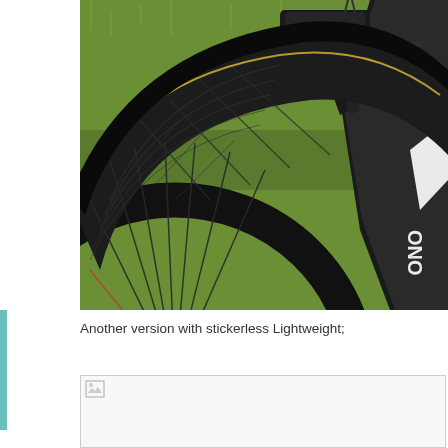[Figure (photo): Close-up photograph of a high-end road bicycle rear wheel showing a carbon fiber deep-section rim (Lightweight brand, stickerless/no decals version), black tire, carbon fork/stay, brake caliper, and spokes. The bike is positioned on green grass background. The rim shows visible carbon weave texture. A brake caliper labeled 'Lightness' is visible at top.]
Another version with stickerless Lightweight;
[Figure (photo): Second photo (broken image / not loaded) showing another version of the stickerless Lightweight wheel]